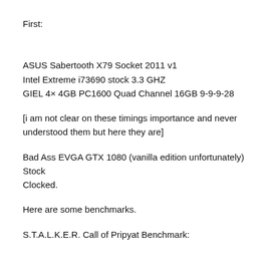First:
ASUS Sabertooth X79 Socket 2011 v1
Intel Extreme i73690 stock 3.3 GHZ
GIEL 4× 4GB PC1600 Quad Channel 16GB 9-9-9-28
[i am not clear on these timings importance and never understood them but here they are]
Bad Ass EVGA GTX 1080 (vanilla edition unfortunately) Stock Clocked.
Here are some benchmarks.
S.T.A.L.K.E.R. Call of Pripyat Benchmark: